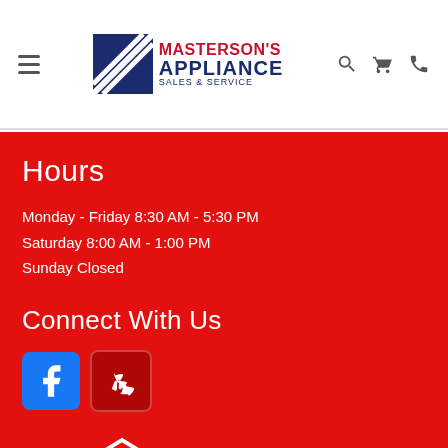Masterson's Appliance Sales & Service — navigation header with logo, hamburger menu, search, cart, and phone icons
Hours
Monday - Friday 8:30 AM - 5:30 PM
Saturday 8:00 AM - 1:00 PM
Sunday Closed
Connect With Us
[Figure (logo): Facebook icon and Yelp icon social media buttons]
[Figure (logo): House outline logo with 'Your Hometown' text partially visible at bottom]